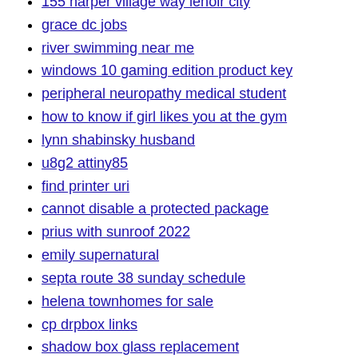155 harper village way lenoir city
grace dc jobs
river swimming near me
windows 10 gaming edition product key
peripheral neuropathy medical student
how to know if girl likes you at the gym
lynn shabinsky husband
u8g2 attiny85
find printer uri
cannot disable a protected package
prius with sunroof 2022
emily supernatural
septa route 38 sunday schedule
helena townhomes for sale
cp drpbox links
shadow box glass replacement
sevenoaks school headmaster
palm tree 3d model low poly
multiple temperature controller
hpe smart array p420 controller
do havanese dogs shed
cyber crime investigator certification
sam joshi edison
pbr lakepoint 15u 2022
fbi teen academy sacramento